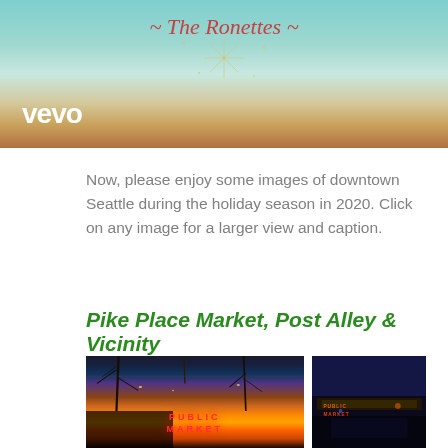[Figure (screenshot): Top portion of a Vevo music video thumbnail showing 'The Ronettes' in italic red cursive text on a teal/green background with sparkle decoration and the white Vevo logo in the lower left]
Now, please enjoy some images of downtown Seattle during the holiday season in 2020. Click on any image for a larger view and caption.
Pike Place Market, Post Alley & Vicinity
[Figure (photo): Two side-by-side photos of downtown Seattle during holiday season 2020. Left photo: Pike Place Market Public Market sign in red neon letters against a dramatic orange and golden sunset sky with bare trees and street lights with holiday lights. Right photo: Pike Place Market Public Market neon sign glowing at dusk/twilight with blue and orange tones showing the market entrance and street with people and vehicles.]